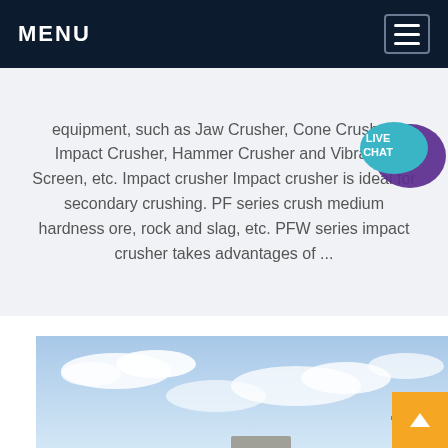MENU
equipment, such as Jaw Crusher, Cone Crusher, Impact Crusher, Hammer Crusher and Vibrating Screen, etc. Impact crusher Impact crusher is ideal for secondary crushing. PF series crush medium hardness ore, rock and slag, etc. PFW series impact crusher takes advantages of ...
[Figure (photo): Industrial mobile crushing and screening plant outdoors on a construction/mining site, with blue sky and clouds in background.]